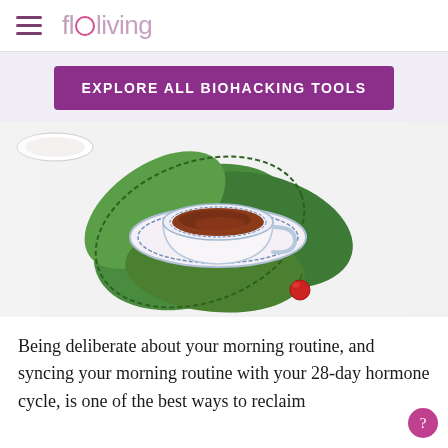floliving
EXPLORE ALL BIOHACKING TOOLS
[Figure (photo): Overhead view of a blue and white porcelain teacup with dark tea, resting on a saucer placed on large green serrated leaves, with a red berry nearby, on a white background]
Being deliberate about your morning routine, and syncing your morning routine with your 28-day hormone cycle, is one of the best ways to reclaim